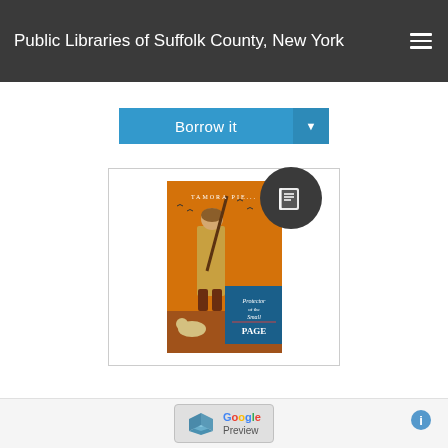Public Libraries of Suffolk County, New York
[Figure (screenshot): Borrow it button with dropdown arrow in blue]
[Figure (photo): Book cover of Protector of the Small: Page by Tamora Pierce, showing a girl with a staff and a dog on an orange background, with a circular book icon overlay]
[Figure (screenshot): Google Preview button in a light gray bar at the bottom of the page, with an info icon on the right]